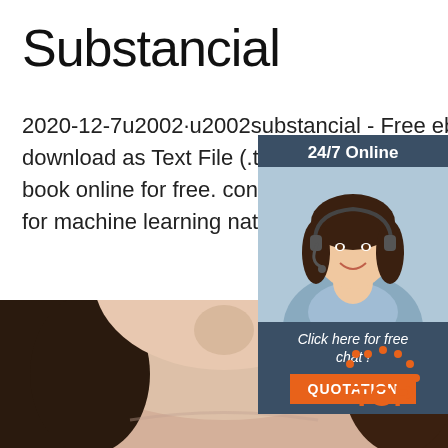Substancial
2020-12-7u2002·u2002substancial - Free ebook download as Text File (.txt), PDF File (.p book online for free. contains some rand for machine learning natural language p
[Figure (infographic): Customer service chat widget showing a woman with a headset, '24/7 Online' header, 'Click here for free chat!' text, and orange QUOTATION button]
Get Price
[Figure (photo): Bottom portion of a woman's face and neck, with dark hair visible on left, and orange TOP logo in the bottom right corner]